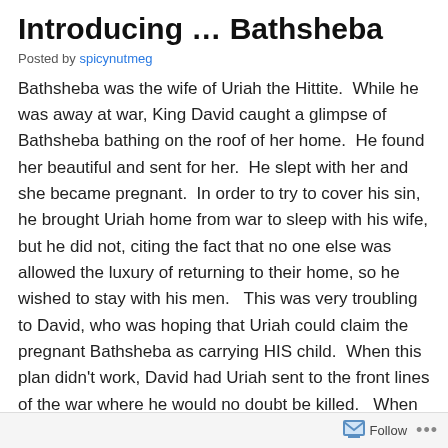Introducing … Bathsheba
Posted by spicynutmeg
Bathsheba was the wife of Uriah the Hittite.  While he was away at war, King David caught a glimpse of Bathsheba bathing on the roof of her home.  He found her beautiful and sent for her.  He slept with her and she became pregnant.  In order to try to cover his sin, he brought Uriah home from war to sleep with his wife, but he did not, citing the fact that no one else was allowed the luxury of returning to their home, so he wished to stay with his men.   This was very troubling to David, who was hoping that Uriah could claim the pregnant Bathsheba as carrying HIS child.  When this plan didn't work, David had Uriah sent to the front lines of the war where he would no doubt be killed.   When Bathsheba got word that her husband